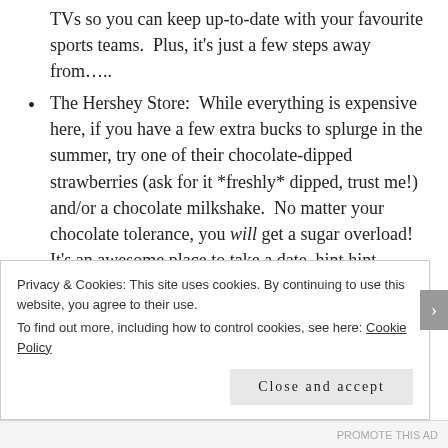TVs so you can keep up-to-date with your favourite sports teams.  Plus, it's just a few steps away from…..
The Hershey Store:  While everything is expensive here, if you have a few extra bucks to splurge in the summer, try one of their chocolate-dipped strawberries (ask for it *freshly* dipped, trust me!) and/or a chocolate milkshake.  No matter your chocolate tolerance, you will get a sugar overload!  It's an awesome place to take a date, hint hint.
Go up to the Observation Deck at the Skylon Tower:
Privacy & Cookies: This site uses cookies. By continuing to use this website, you agree to their use.
To find out more, including how to control cookies, see here: Cookie Policy
Close and accept